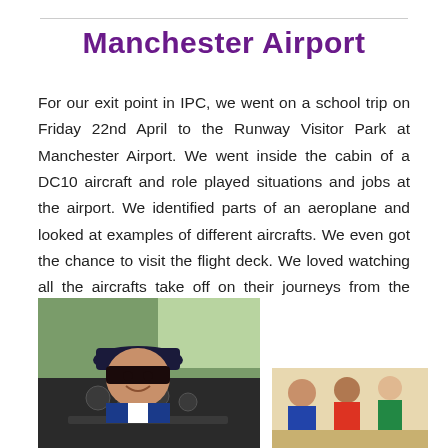Manchester Airport
For our exit point in IPC, we went on a school trip on Friday 22nd April to the Runway Visitor Park at Manchester Airport. We went inside the cabin of a DC10 aircraft and role played situations and jobs at the airport. We identified parts of an aeroplane and looked at examples of different aircrafts. We even got the chance to visit the flight deck. We loved watching all the aircrafts take off on their journeys from the airport.
[Figure (photo): A child wearing a pilot's cap and uniform sitting in an aircraft flight deck cockpit, smiling at the camera.]
[Figure (photo): Children at the airport visit, partially visible in the bottom right corner.]